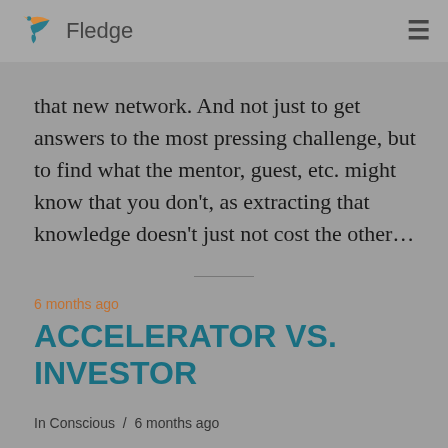Fledge
that new network. And not just to get answers to the most pressing challenge, but to find what the mentor, guest, etc. might know that you don't, as extracting that knowledge doesn't just not cost the other...
6 months ago
ACCELERATOR VS. INVESTOR
In Conscious / 6 months ago